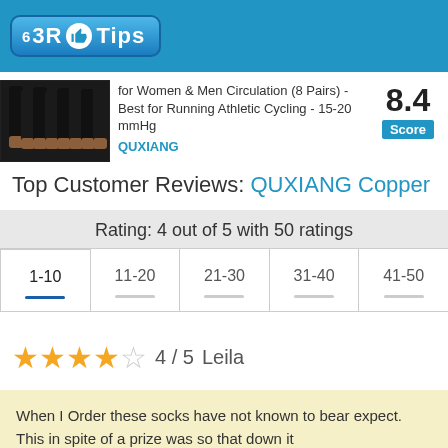6 3R Tips
for Women & Men Circulation (8 Pairs) - Best for Running Athletic Cycling - 15-20 mmHg
QUXIANG
8.4 Score
Top Customer Reviews: QUXIANG Copper ...
Rating: 4 out of 5 with 50 ratings
| 1-10 | 11-20 | 21-30 | 31-40 | 41-50 |
| --- | --- | --- | --- | --- |
★★★★☆  4 / 5  Leila
When I Order these socks have not known to bear expect. This in spite of a prize was so that down it